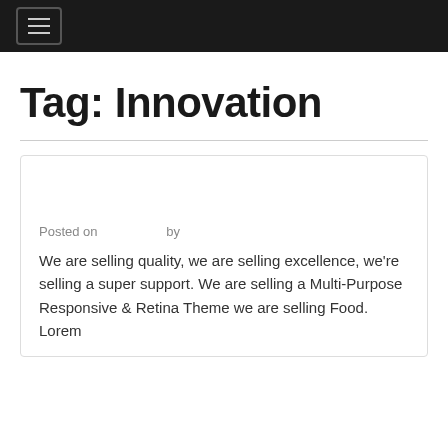Navigation bar with hamburger menu
Tag: Innovation
Posted on by
We are selling quality, we are selling excellence, we're selling a super support. We are selling a Multi-Purpose Responsive & Retina Theme we are selling Food. Lorem